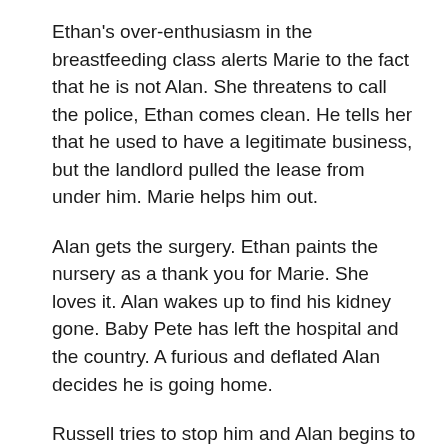Ethan's over-enthusiasm in the breastfeeding class alerts Marie to the fact that he is not Alan. She threatens to call the police, Ethan comes clean. He tells her that he used to have a legitimate business, but the landlord pulled the lease from under him. Marie helps him out.
Alan gets the surgery. Ethan paints the nursery as a thank you for Marie. She loves it. Alan wakes up to find his kidney gone. Baby Pete has left the hospital and the country. A furious and deflated Alan decides he is going home.
Russell tries to stop him and Alan begins to rant at him. As Alan rants, both men get snatched. They are taken to Russell's house. The person who had them snatched turns out to be Jasper (Wayans), the sixth sibling.